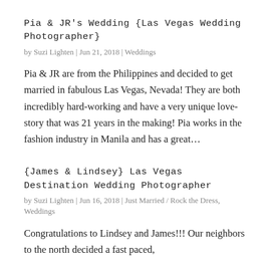Pia & JR's Wedding {Las Vegas Wedding Photographer}
by Suzi Lighten | Jun 21, 2018 | Weddings
Pia & JR are from the Philippines and decided to get married in fabulous Las Vegas, Nevada! They are both incredibly hard-working and have a very unique love-story that was 21 years in the making! Pia works in the fashion industry in Manila and has a great...
{James & Lindsey} Las Vegas Destination Wedding Photographer
by Suzi Lighten | Jun 16, 2018 | Just Married / Rock the Dress, Weddings
Congratulations to Lindsey and James!!! Our neighbors to the north decided a fast paced, quick wedding was the best choice, they…